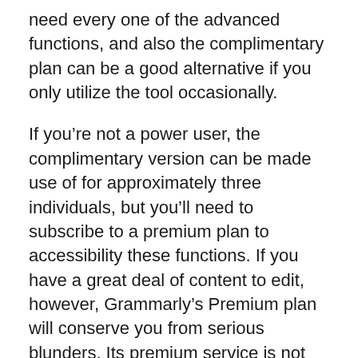need every one of the advanced functions, and also the complimentary plan can be a good alternative if you only utilize the tool occasionally.
If you're not a power user, the complimentary version can be made use of for approximately three individuals, but you'll need to subscribe to a premium plan to accessibility these functions. If you have a great deal of content to edit, however, Grammarly's Premium plan will conserve you from serious blunders. Its premium service is not restricted to pupil writing; it can boost business interaction, as well as also boost trainee writing.
Grammarly Costs Voucher